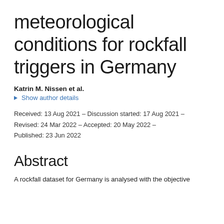meteorological conditions for rockfall triggers in Germany
Katrin M. Nissen et al.
Show author details
Received: 13 Aug 2021 – Discussion started: 17 Aug 2021 – Revised: 24 Mar 2022 – Accepted: 20 May 2022 – Published: 23 Jun 2022
Abstract
A rockfall dataset for Germany is analysed with the objective